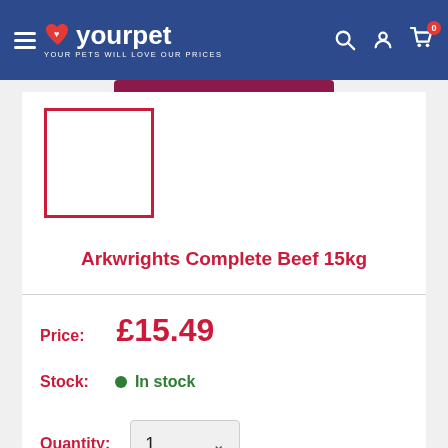yourpet — YOUR PETS WILL LOVE OUR PRICES
[Figure (screenshot): Product image placeholder — empty white box with red border]
Arkwrights Complete Beef 15kg
Price: £15.49
Stock: In stock
Quantity: 1